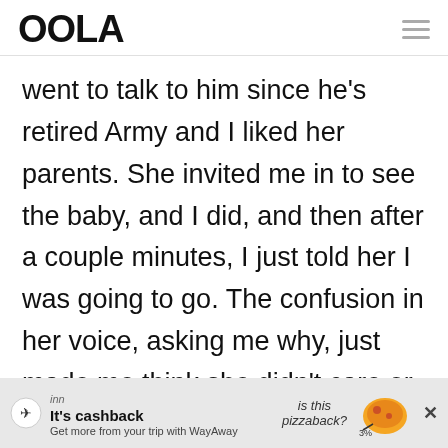OOLA
went to talk to him since he's retired Army and I liked her parents. She invited me in to see the baby, and I did, and then after a couple minutes, I just told her I was going to go. The confusion in her voice, asking me why, just made me think she didn't care or understand why I
[Figure (other): WayAway advertisement banner: logo, 'It's cashback', 'Get more from your trip with WayAway', pizza image, close button]